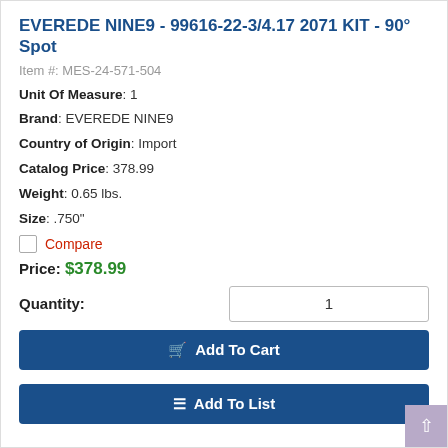EVEREDE NINE9 - 99616-22-3/4.17 2071 KIT - 90° Spot
Item #: MES-24-571-504
Unit Of Measure: 1
Brand: EVEREDE NINE9
Country of Origin: Import
Catalog Price: 378.99
Weight: 0.65 lbs.
Size: .750"
Compare
Price: $378.99
Quantity: 1
Add To Cart
Add To List